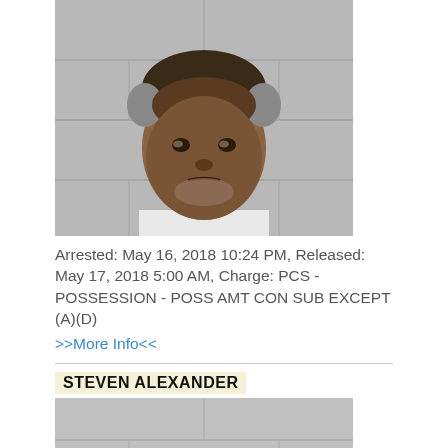[Figure (photo): Mugshot photo of a middle-aged man wearing a white shirt against a gray concrete block wall background]
Arrested: May 16, 2018 10:24 PM, Released: May 17, 2018 5:00 AM, Charge: PCS - POSSESSION - POSS AMT CON SUB EXCEPT (A)(D)
>>More Info<<
STEVEN ALEXANDER
[Figure (photo): Bottom portion of a mugshot photo showing a concrete block wall background, person not yet visible]